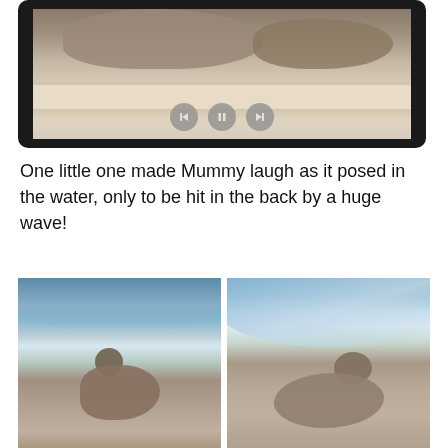[Figure (screenshot): Tablet device showing a slideshow/gallery of seal photos with media playback controls (previous, pause, next buttons) overlaid on the image]
One little one made Mummy laugh as it posed in the water, only to be hit in the back by a huge wave!
[Figure (photo): Two side-by-side photos of a seal pup in ocean waves on a beach]